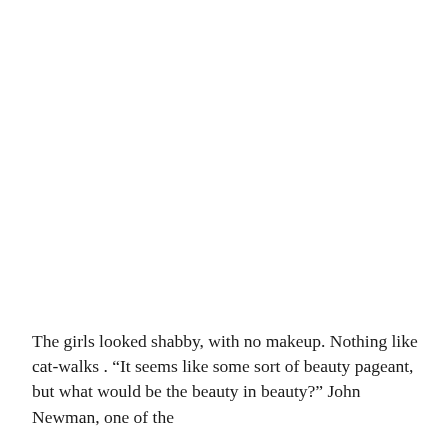The girls looked shabby, with no makeup. Nothing like cat-walks . “It seems like some sort of beauty pageant, but what would be the beauty in beauty?” John Newman, one of the